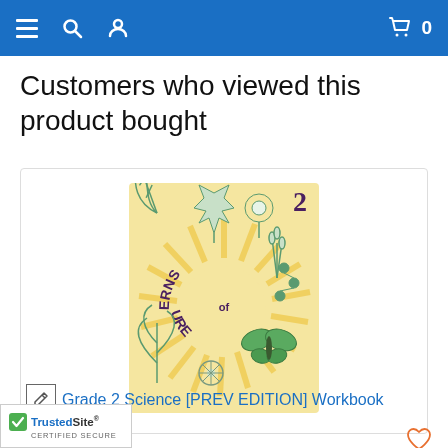Navigation bar with menu, search, user, cart (0)
Customers who viewed this product bought
[Figure (illustration): Book cover of 'Patterns of Nature 2' with illustrated botanical and nature elements on a yellow sunburst background. Shows a butterfly, leaves, dandelion, flowers, and the number 2 in the corner.]
Grade 2 Science [PREV EDITION] Workbook
$7.15